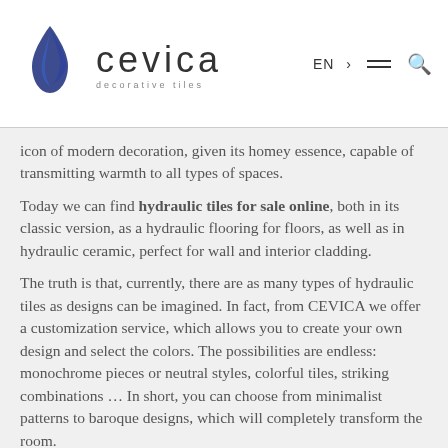[Figure (logo): Cevica decorative tiles logo with blue flame/water drop icon and text 'cevica decorative tiles']
icon of modern decoration, given its homey essence, capable of transmitting warmth to all types of spaces.
Today we can find hydraulic tiles for sale online, both in its classic version, as a hydraulic flooring for floors, as well as in hydraulic ceramic, perfect for wall and interior cladding.
The truth is that, currently, there are as many types of hydraulic tiles as designs can be imagined. In fact, from CEVICA we offer a customization service, which allows you to create your own design and select the colors. The possibilities are endless: monochrome pieces or neutral styles, colorful tiles, striking combinations … In short, you can choose from minimalist patterns to baroque designs, which will completely transform the room.